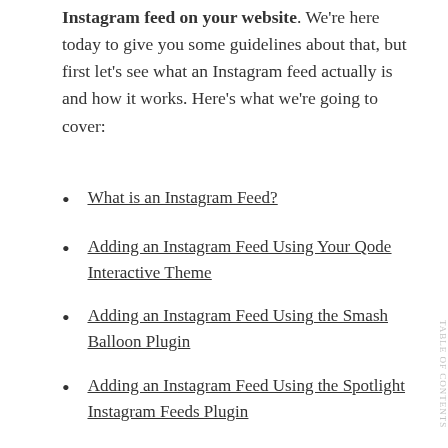Instagram feed on your website. We're here today to give you some guidelines about that, but first let's see what an Instagram feed actually is and how it works. Here's what we're going to cover:
What is an Instagram Feed?
Adding an Instagram Feed Using Your Qode Interactive Theme
Adding an Instagram Feed Using the Smash Balloon Plugin
Adding an Instagram Feed Using the Spotlight Instagram Feeds Plugin